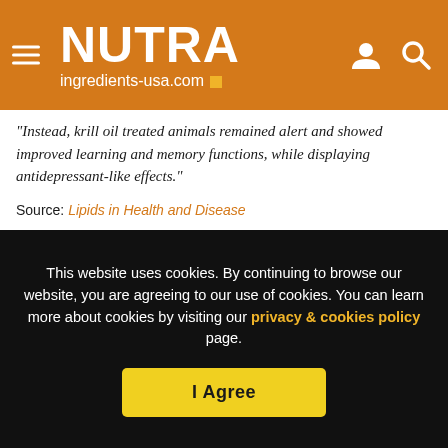NUTRA ingredients-usa.com
“Instead, krill oil treated animals remained alert and showed improved learning and memory functions, while displaying antidepressant-like effects.”
Source: Lipids in Health and Disease
2013, 12:6
"Enhanced cognitive function and antidepressant-like effects after krill oil supplementation in rats"
Authors: K. Wibrand, K. Berge, M. Messaoudi, A. Duffaud, D. Pania, C.R. Bramham, L. Burri
This website uses cookies. By continuing to browse our website, you are agreeing to our use of cookies. You can learn more about cookies by visiting our privacy & cookies policy page.